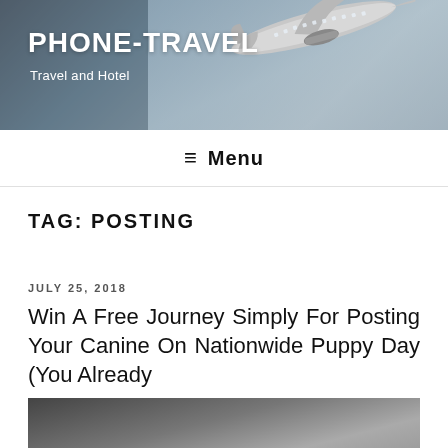[Figure (photo): Website header banner with airplane flying overhead against a sky background, showing the site branding PHONE-TRAVEL with subtitle Travel and Hotel]
PHONE-TRAVEL
Travel and Hotel
≡ Menu
TAG: POSTING
JULY 25, 2018
Win A Free Journey Simply For Posting Your Canine On Nationwide Puppy Day (You Already
[Figure (photo): A person in a suit holding papers, partial view from below]